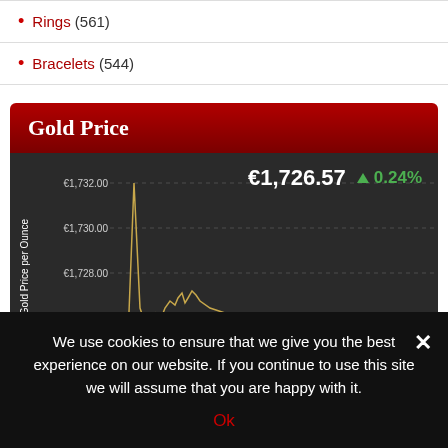Rings (561)
Bracelets (544)
Gold Price
[Figure (continuous-plot): Line chart showing gold price in euros per ounce, with y-axis ranging from approximately €1,724 to €1,732. Current price displayed as €1,726.57 with +0.24% change. Chart has dark background with dashed gridlines and a jagged gold/yellow line showing recent price movements with a sharp spike.]
We use cookies to ensure that we give you the best experience on our website. If you continue to use this site we will assume that you are happy with it.
Ok